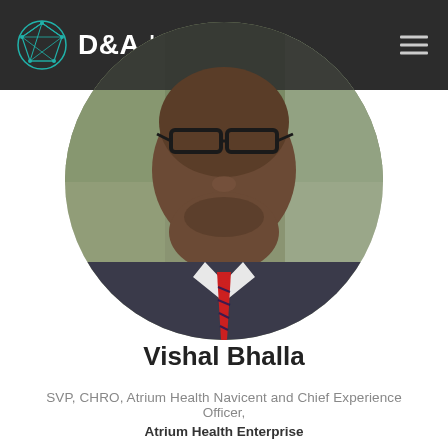[Figure (logo): D&A Live logo with teal geometric globe icon and white text on dark header bar]
[Figure (photo): Circular cropped headshot photo of Vishal Bhalla, a man wearing glasses, suit jacket, and red striped tie]
Vishal Bhalla
SVP, CHRO, Atrium Health Navicent and Chief Experience Officer,
Atrium Health Enterprise